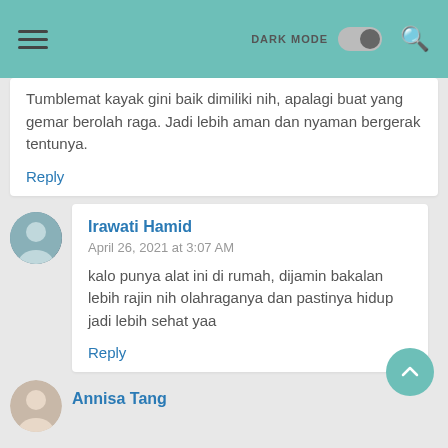DARK MODE [toggle] [search]
Tumblemat kayak gini baik dimiliki nih, apalagi buat yang gemar berolah raga. Jadi lebih aman dan nyaman bergerak tentunya.
Reply
Irawati Hamid
April 26, 2021 at 3:07 AM
kalo punya alat ini di rumah, dijamin bakalan lebih rajin nih olahraganya dan pastinya hidup jadi lebih sehat yaa
Reply
Annisa Tang